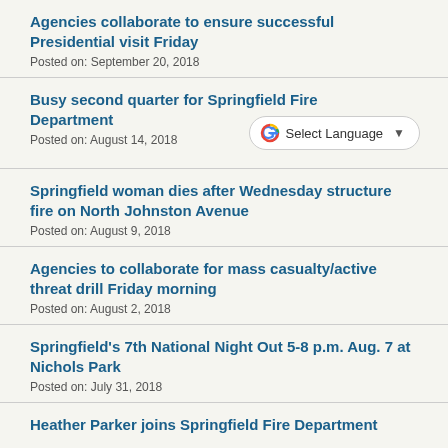Agencies collaborate to ensure successful Presidential visit Friday
Posted on: September 20, 2018
Busy second quarter for Springfield Fire Department
Posted on: August 14, 2018
[Figure (other): Google Translate widget with 'Select Language' dropdown]
Springfield woman dies after Wednesday structure fire on North Johnston Avenue
Posted on: August 9, 2018
Agencies to collaborate for mass casualty/active threat drill Friday morning
Posted on: August 2, 2018
Springfield's 7th National Night Out 5-8 p.m. Aug. 7 at Nichols Park
Posted on: July 31, 2018
Heather Parker joins Springfield Fire Department